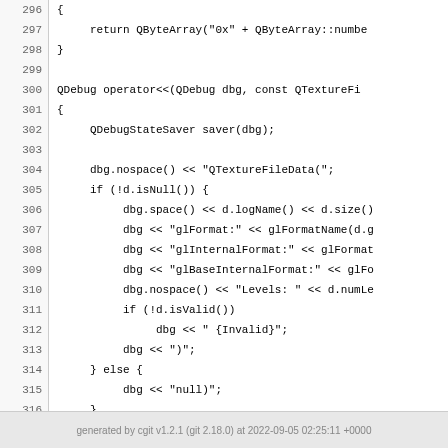Source code listing lines 296–321 showing C++ QTextureFileData operator implementation and QT_END_NAMESPACE
generated by cgit v1.2.1 (git 2.18.0) at 2022-09-05 02:25:11 +0000